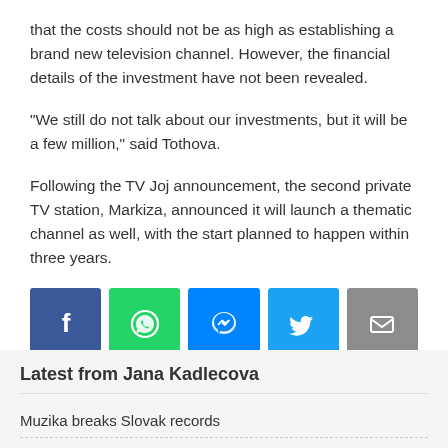that the costs should not be as high as establishing a brand new television channel. However, the financial details of the investment have not been revealed.
"We still do not talk about our investments, but it will be a few million," said Tothova.
Following the TV Joj announcement, the second private TV station, Markiza, announced it will launch a thematic channel as well, with the start planned to happen within three years.
[Figure (infographic): Social sharing buttons: Facebook (blue), WhatsApp (green), Messenger (blue), Twitter (light blue), Email (grey)]
Published in Slovakia
Latest from Jana Kadlecova
Muzika breaks Slovak records